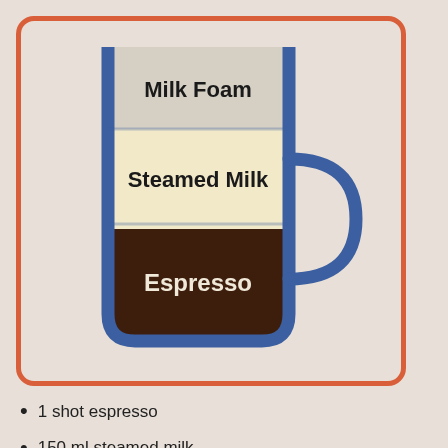[Figure (infographic): Illustration of a latte/cappuccino cup cross-section showing three layers: Milk Foam (top, light grey), Steamed Milk (middle, cream/pale yellow), and Espresso (bottom, dark brown). The cup is drawn in a flat illustration style with a dark blue outline and a handle on the right, enclosed in a card with an orange-red rounded rectangle border on a beige background.]
1 shot espresso
150 ml steamed milk